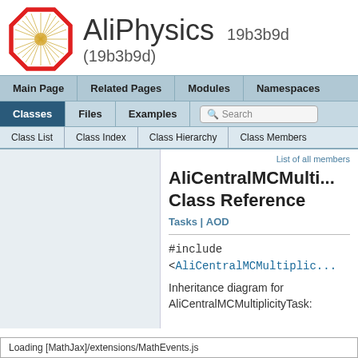[Figure (logo): AliPhysics octagonal logo with red border and starburst pattern]
AliPhysics 19b3b9d (19b3b9d)
| Main Page | Related Pages | Modules | Namespaces |
| --- | --- | --- | --- |
| Classes | Files | Examples | Search |
| --- | --- | --- | --- |
| Class List | Class Index | Class Hierarchy | Class Members |
| --- | --- | --- | --- |
List of all members
AliCentralMCMulti... Class Reference
Tasks | AOD
#include <AliCentralMCMultiplic...
Inheritance diagram for AliCentralMCMultiplicityTask:
Loading [MathJax]/extensions/MathEvents.js